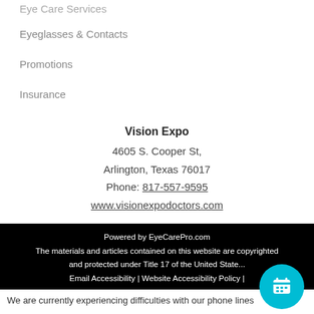Eye Care Services
Eyeglasses & Contacts
Promotions
Insurance
Vision Expo
4605 S. Cooper St,
Arlington, Texas 76017
Phone: 817-557-9595
www.visionexpodoctors.com
Powered by EyeCarePro.com
The materials and articles contained on this website are copyrighted and protected under Title 17 of the United States...
Email Accessibility | Website Accessibility Policy |
We are currently experiencing difficulties with our phone lines